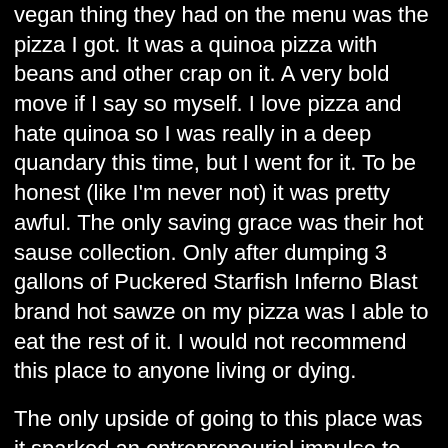vegan thing they had on the menu was the pizza I got. It was a quinoa pizza with beans and other crap on it. A very bold move if I say so myself. I love pizza and hate quinoa so I was really in a deep quandary this time, but I went for it. To be honest (like I'm never not) it was pretty awful. The only saving grace was their hot sause collection. Only after dumping 3 gallons of Puckered Starfish Inferno Blast brand hot sawze on my pizza was I able to eat the rest of it. I would not recommend this place to anyone living or dying.
The only upside of going to this place was it sparked an entrepreneurial impulse to start my own place. Hiking Hawaiian is a place where a hiking company begins its meetups, they carb down hella hard then drive off to go huff it up some canyon. Since most of you know me from my other blog Losangelesswimmin.com you are aware of how much I love hiking/camping/cliff jumping and generally unsafe outdoor activities. Well, cuz of Hiking Hawaiian Cafe I am in the process of merging my love for food with my love for the outdoors, and you all know how creative my mind is, so expect something really awesome in the near future. I'm thinking like swim up vegan pizza but behind a waterfall with